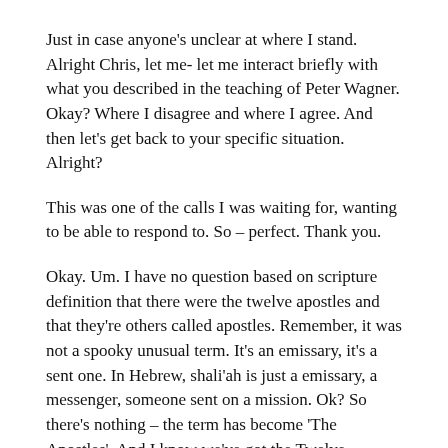Just in case anyone's unclear at where I stand. Alright Chris, let me- let me interact briefly with what you described in the teaching of Peter Wagner. Okay? Where I disagree and where I agree. And then let's get back to your specific situation. Alright?
This was one of the calls I was waiting for, wanting to be able to respond to. So – perfect. Thank you.
Okay. Um. I have no question based on scripture definition that there were the twelve apostles and that they're others called apostles. Remember, it was not a spooky unusual term. It's an emissary, it's a sent one. In Hebrew, shali'ah is just a emissary, a messenger, someone sent on a mission. Ok? So there's nothing – the term has become 'The Apostles'. And I know we've got the Twelve Apostles on the new foundation stones of the New Jerusalem in Revelation 22. But I'm looking at Acts 14:14, 'The apostles Barnabas and Paul tore their robes'. There's others called apostles in the New Testament outside of the twelve. So – are there apostle today? Is that how I understand